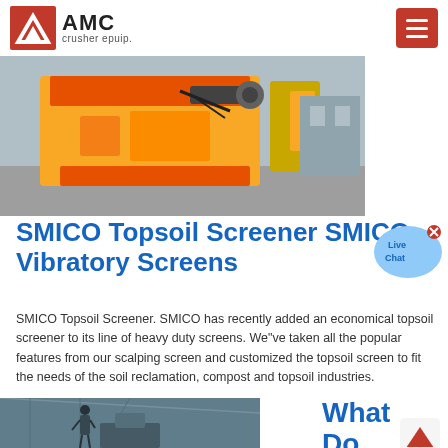AMC crusher epuip.
[Figure (photo): Yellow heavy machinery/crusher equipment photographed outdoors in a yard, showing hydraulic components and metal structure.]
SMICO Topsoil Screener SMICO Vibratory Screens
[Figure (illustration): Live Chat speech bubble icon with text 'Live Chat' in blue and white, with a close (x) button.]
SMICO Topsoil Screener. SMICO has recently added an economical topsoil screener to its line of heavy duty screens. We"ve taken all the popular features from our scalping screen and customized the topsoil screen to fit the needs of the soil reclamation, compost and topsoil industries.
Know More
[Figure (photo): Worker standing near industrial equipment inside a large warehouse or factory building with roof trusses visible.]
What Do